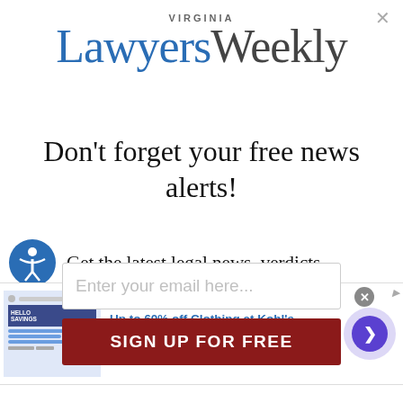[Figure (logo): Virginia Lawyers Weekly logo with 'VIRGINIA' above and 'Lawyers' in blue serif font followed by 'Weekly' in dark gray serif font]
Don't forget your free news alerts!
[Figure (other): Partially visible accessibility icon (blue circle with person figure) and partial text: Get the latest legal news, verdicts]
[Figure (other): Advertisement banner: 'Up to 60% off Clothing at Kohl's' with image thumbnail, description 'Save up to 60% on clothing and homeware at Kohl's.com', URL 'kohls.com', close button X, and arrow navigation button]
Enter your email here...
SIGN UP FOR FREE